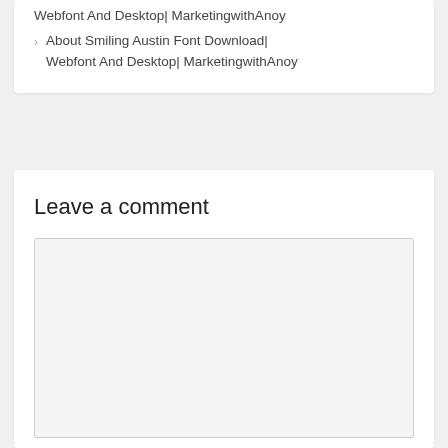About Smiling Austin Font Download| Webfont And Desktop| MarketingwithAnoy
About Smiling Austin Font Download| Webfont And Desktop| MarketingwithAnoy
Leave a comment